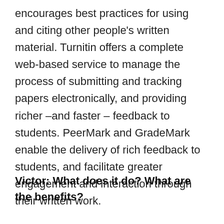encourages best practices for using and citing other people's written material. Turnitin offers a complete web-based service to manage the process of submitting and tracking papers electronically, and providing richer –and faster – feedback to students. PeerMark and GradeMark enable the delivery of rich feedback to students, and facilitate greater engagement and interaction through their written work.
Victor: What does it do? What are the benefits?